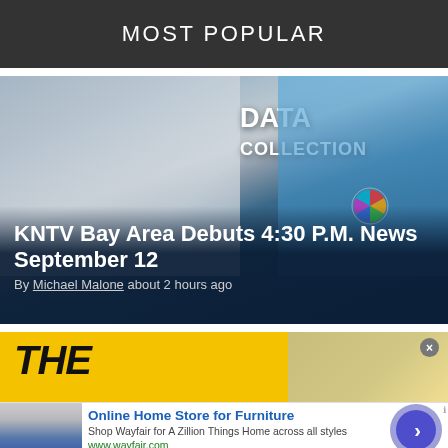MOST POPULAR
[Figure (photo): News studio scene showing a man in a checkered shirt touching a screen labeled DATA COLLECTION, with a female news anchor in a blue top standing to the right. NBC logo visible in background.]
KNTV Bay Area Debuts 4:30 P.M. News September 12
By Michael Malone about 2 hours ago
[Figure (photo): Yellow advertisement banner showing large bold italic text reading THE with a person jumping on the right side.]
[Figure (photo): Ad banner showing kitchen appliances thumbnail on the left.]
Online Home Store for Furniture
Shop Wayfair for A Zillion Things Home across all styles
www.wayfair.com